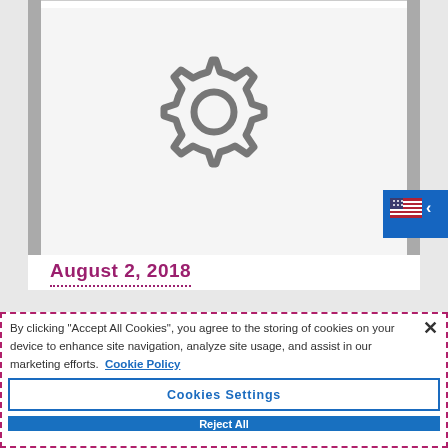[Figure (screenshot): Screenshot of a website with a gear/settings icon in a light gray card with gray side bars, partially visible behind a cookie consent dialog. A language selector button (US flag with arrow) is visible at top right. A partially visible date 'August 2, 2018' appears in magenta text. A cookie consent modal overlays the bottom portion with dashed magenta border, containing cookie policy text, a close X button, and three buttons: Cookies Settings (outlined blue), Reject All (solid blue), and Accept All Cookies (solid blue).]